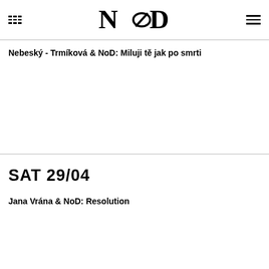NoD logo header with grid menu and hamburger menu
Nebeský - Trmíková & NoD: Miluji tě jak po smrti
SAT 29/04
Jana Vrána & NoD: Resolution